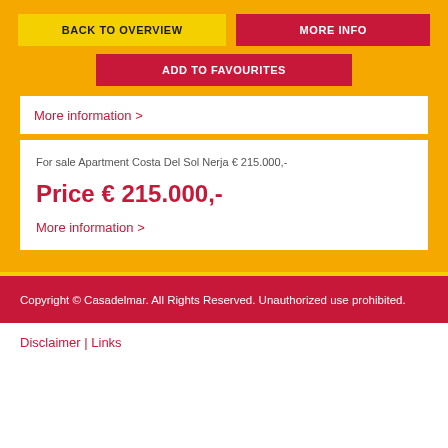BACK TO OVERVIEW
MORE INFO
ADD TO FAVOURITES
More information >
For sale Apartment Costa Del Sol Nerja € 215.000,-
Price € 215.000,-
More information >
Copyright © Casadelmar. All Rights Reserved. Unauthorized use prohibited.
Disclaimer | Links